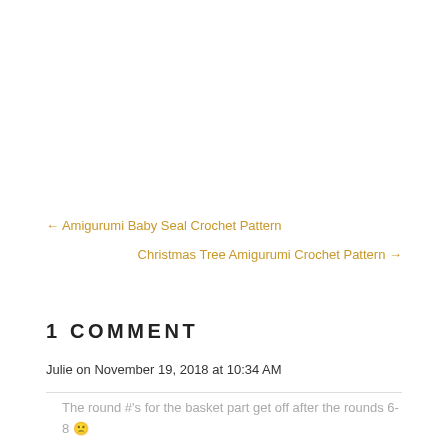← Amigurumi Baby Seal Crochet Pattern
Christmas Tree Amigurumi Crochet Pattern →
1 COMMENT
Julie on November 19, 2018 at 10:34 AM
The round #'s for the basket part get off after the rounds 6-8 🙁